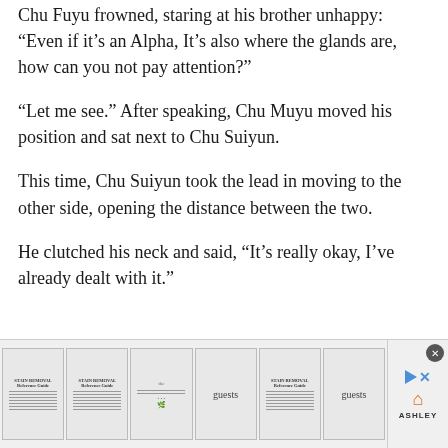Chu Fuyu frowned, staring at his brother unhappy: “Even if it’s an Alpha, It’s also where the glands are, how can you not pay attention?”
“Let me see.” After speaking, Chu Muyu moved his position and sat next to Chu Suiyun.
This time, Chu Suiyun took the lead in moving to the other side, opening the distance between the two.
He clutched his neck and said, “It’s really okay, I’ve already dealt with it.”
[Figure (other): Advertisement banner showing stain removal guides and guest book prints, with Ashley Furniture logo and play/close buttons]